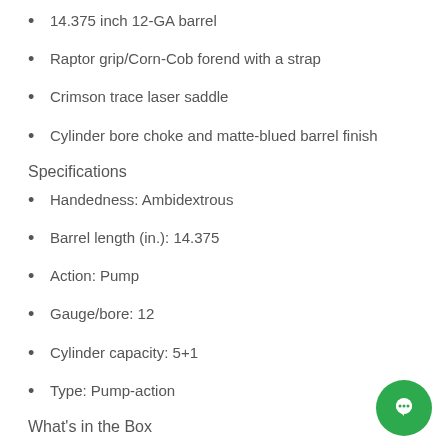14.375 inch 12-GA barrel
Raptor grip/Corn-Cob forend with a strap
Crimson trace laser saddle
Cylinder bore choke and matte-blued barrel finish
Specifications
Handedness: Ambidextrous
Barrel length (in.): 14.375
Action: Pump
Gauge/bore: 12
Cylinder capacity: 5+1
Type: Pump-action
What's in the Box
Mossberg 590 Shockwave 12 Gauge Pump-Action